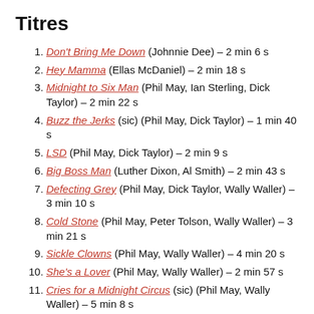Titres
Don't Bring Me Down (Johnnie Dee) – 2 min 6 s
Hey Mamma (Ellas McDaniel) – 2 min 18 s
Midnight to Six Man (Phil May, Ian Sterling, Dick Taylor) – 2 min 22 s
Buzz the Jerks (sic) (Phil May, Dick Taylor) – 1 min 40 s
LSD (Phil May, Dick Taylor) – 2 min 9 s
Big Boss Man (Luther Dixon, Al Smith) – 2 min 43 s
Defecting Grey (Phil May, Dick Taylor, Wally Waller) – 3 min 10 s
Cold Stone (Phil May, Peter Tolson, Wally Waller) – 3 min 21 s
Sickle Clowns (Phil May, Wally Waller) – 4 min 20 s
She's a Lover (Phil May, Wally Waller) – 2 min 57 s
Cries for a Midnight Circus (sic) (Phil May, Wally Waller) – 5 min 8 s
Stone Hearted Mamma (Phil May, Wally Waller) – 2 min 41 s
Summertime (Phil May, Peter Tolson, Wally Waller) – 4 min 17